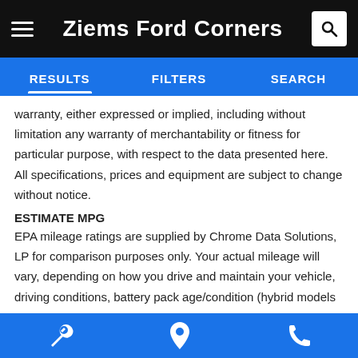Ziems Ford Corners
RESULTS   FILTERS   SEARCH
warranty, either expressed or implied, including without limitation any warranty of merchantability or fitness for particular purpose, with respect to the data presented here. All specifications, prices and equipment are subject to change without notice.
ESTIMATE MPG
EPA mileage ratings are supplied by Chrome Data Solutions, LP for comparison purposes only. Your actual mileage will vary, depending on how you drive and maintain your vehicle, driving conditions, battery pack age/condition (hybrid models only) and other factors.
Based on 2019 EPA mileage ratings. Your MPGe/MPG and driving range will vary depending on driving conditions, how you drive and maintain your vehicle, battery-pack age/condition, and other factors.
service   location   phone